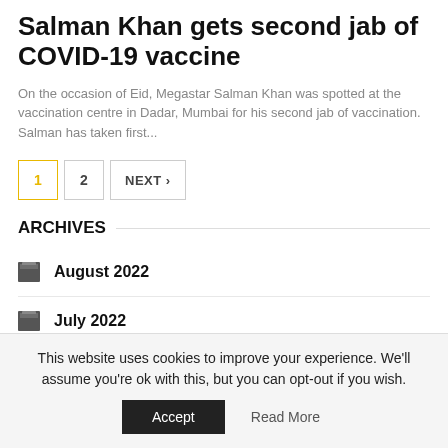Salman Khan gets second jab of COVID-19 vaccine
On the occasion of Eid, Megastar Salman Khan was spotted at the vaccination centre in Dadar, Mumbai for his second jab of vaccination. Salman has taken first...
ARCHIVES
August 2022
July 2022
June 2022
May 2022
This website uses cookies to improve your experience. We'll assume you're ok with this, but you can opt-out if you wish.